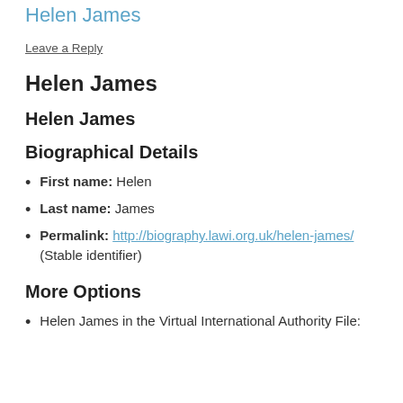Helen James
Leave a Reply
Helen James
Helen James
Biographical Details
First name: Helen
Last name: James
Permalink: http://biography.lawi.org.uk/helen-james/ (Stable identifier)
More Options
Helen James in the Virtual International Authority File: